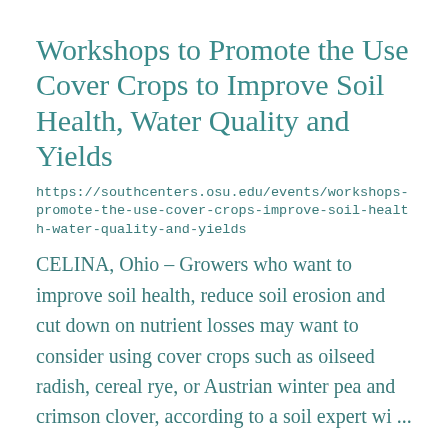Workshops to Promote the Use Cover Crops to Improve Soil Health, Water Quality and Yields
https://southcenters.osu.edu/events/workshops-promote-the-use-cover-crops-improve-soil-health-water-quality-and-yields
CELINA, Ohio – Growers who want to improve soil health, reduce soil erosion and cut down on nutrient losses may want to consider using cover crops such as oilseed radish, cereal rye, or Austrian winter pea and crimson clover, according to a soil expert wi ...